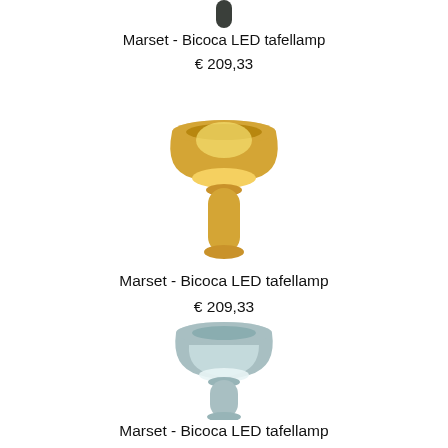[Figure (photo): Marset Bicoca LED table lamp in dark gray/graphite color, partially cropped at top]
Marset - Bicoca LED tafellamp
€ 209,33
[Figure (photo): Marset Bicoca LED table lamp in yellow/mustard color]
Marset - Bicoca LED tafellamp
€ 209,33
[Figure (photo): Marset Bicoca LED table lamp in light blue/mint color]
Marset - Bicoca LED tafellamp